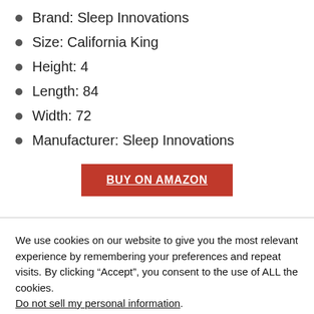Brand: Sleep Innovations
Size: California King
Height: 4
Length: 84
Width: 72
Manufacturer: Sleep Innovations
BUY ON AMAZON
We use cookies on our website to give you the most relevant experience by remembering your preferences and repeat visits. By clicking “Accept”, you consent to the use of ALL the cookies. Do not sell my personal information.
Cookie Settings   Accept